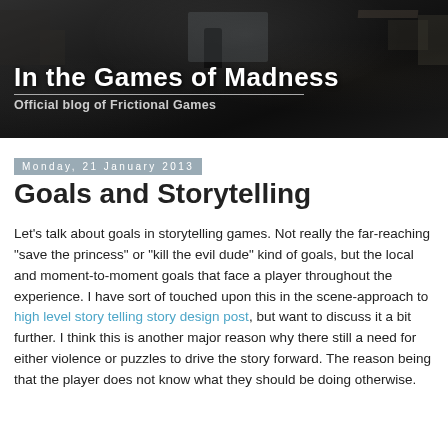[Figure (photo): Dark banner image showing a dimly lit workshop or room scene with silhouetted figure, overlaid with blog title 'In the Games of Madness' and subtitle 'Official blog of Frictional Games']
Monday, 21 January 2013
Goals and Storytelling
Let's talk about goals in storytelling games. Not really the far-reaching "save the princess" or "kill the evil dude" kind of goals, but the local and moment-to-moment goals that face a player throughout the experience. I have sort of touched upon this in the scene-approach to high level story telling story design post, but want to discuss it a bit further. I think this is another major reason why there still a need for either violence or puzzles to drive the story forward. The reason being that the player does not know what they should be doing otherwise.